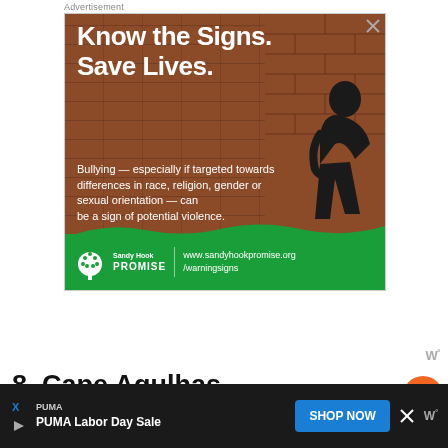[Figure (infographic): Sandy Hook Promise advertisement: 'Know the Signs. Save Lives.' with text about bullying as a sign of potential violence, featuring a person sitting against a brick wall, green wave footer with Sandy Hook Promise logo and URL www.sandyhookpromise.org/warningsigns]
8. Cape Agulhas – Southernmost Tip Of Africa
Cape Agulhas, the Southernmost place in Africa, is
[Figure (infographic): PUMA Labor Day Sale advertisement banner at bottom of page with SHOP NOW button]